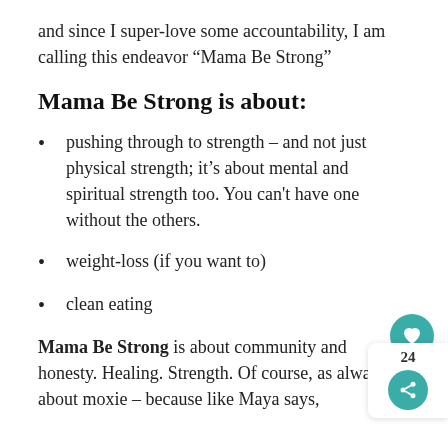and since I super-love some accountability, I am calling this endeavor “Mama Be Strong”
Mama Be Strong is about:
pushing through to strength – and not just physical strength; it’s about mental and spiritual strength too. You can’t have one without the others.
weight-loss (if you want to)
clean eating
Mama Be Strong is about community and honesty. Healing. Strength. Of course, as alwa, it’s about moxie – because like Maya says,